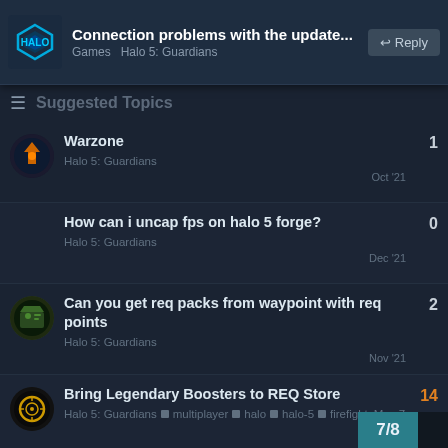Connection problems with the update... Games Halo 5: Guardians
Suggested Topics
Warzone | Halo 5: Guardians | Oct '21 | replies: 1
How can i uncap fps on halo 5 forge? | Halo 5: Guardians | Dec '21 | replies: 0
Can you get req packs from waypoint with req points | Halo 5: Guardians | Nov '21 | replies: 2
Bring Legendary Boosters to REQ Store | Halo 5: Guardians | multiplayer | halo | halo-5 | firefight | May 7 | replies: 14
I was bored so I decided to finish Vel 'Trokaik's love poem dedicated to Sarah Palmer | Halo 5: Guardians | replies: 3
7/8